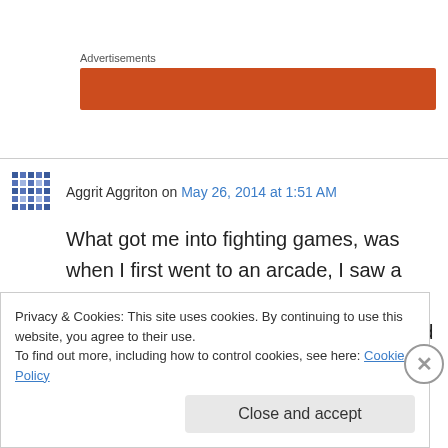Advertisements
[Figure (other): Orange/red advertisement banner placeholder]
Aggrit Aggriton on May 26, 2014 at 1:51 AM
What got me into fighting games, was when I first went to an arcade, I saw a Street Fighter arcade. I heard about the games a bit earlier. (I'm 21) and I decided to check it out. Once
Privacy & Cookies: This site uses cookies. By continuing to use this website, you agree to their use.
To find out more, including how to control cookies, see here: Cookie Policy